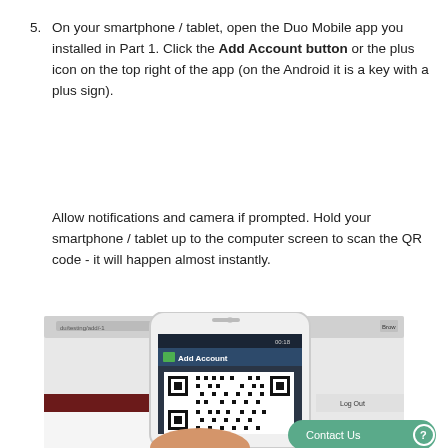5. On your smartphone / tablet, open the Duo Mobile app you installed in Part 1. Click the Add Account button or the plus icon on the top right of the app (on the Android it is a key with a plus sign).
Allow notifications and camera if prompted. Hold your smartphone / tablet up to the computer screen to scan the QR code - it will happen almost instantly.
[Figure (photo): A smartphone held in hand displaying the Duo Mobile 'Add Account' screen with a QR code being scanned, positioned in front of a computer screen showing a web browser. A 'Contact Us' button with a question mark icon appears in the bottom right corner.]